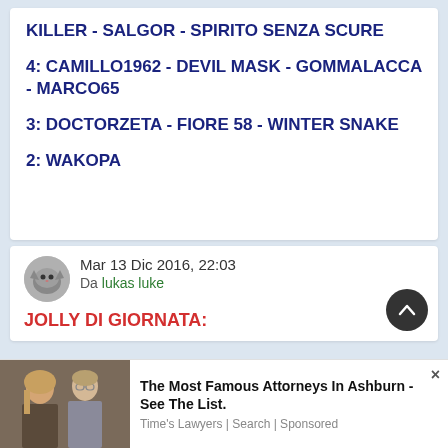KILLER - SALGOR - SPIRITO SENZA SCURE
4: CAMILLO1962 - DEVIL MASK - GOMMALACCA - MARCO65
3: DOCTORZETA - FIORE 58 - WINTER SNAKE
2: WAKOPA
Mar 13 Dic 2016, 22:03
Da lukas luke
JOLLY DI GIORNATA:
[Figure (photo): Advertisement photo showing two people (man and woman)]
The Most Famous Attorneys In Ashburn - See The List.
Time's Lawyers | Search | Sponsored